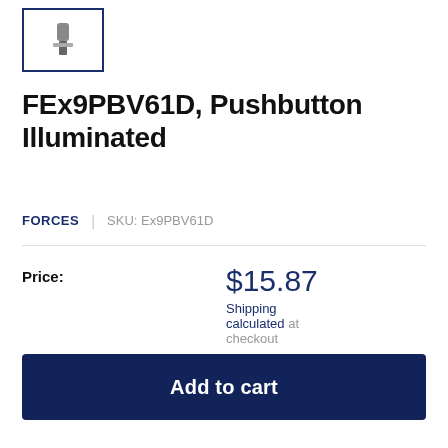[Figure (photo): Small thumbnail image of pushbutton product in a bordered box]
FEx9PBV61D, Pushbutton Illuminated
FORCES | SKU: Ex9PBV61D
Price: $15.87 Shipping calculated at checkout
Quantity: 1
Add to cart